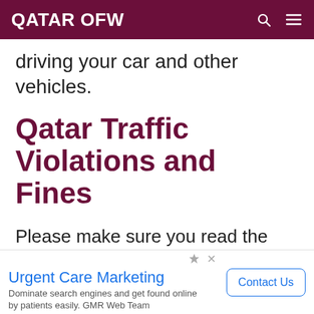QATAR OFW
driving your car and other vehicles.
Qatar Traffic Violations and Fines
Please make sure you read the following offenses and sanctions for your reference.
[Figure (other): Scroll down chevron button]
Urgent Care Marketing
Dominate search engines and get found online by patients easily. GMR Web Team